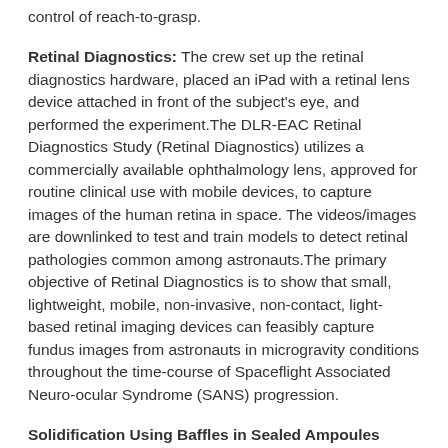control of reach-to-grasp.
Retinal Diagnostics: The crew set up the retinal diagnostics hardware, placed an iPad with a retinal lens device attached in front of the subject's eye, and performed the experiment.The DLR-EAC Retinal Diagnostics Study (Retinal Diagnostics) utilizes a commercially available ophthalmology lens, approved for routine clinical use with mobile devices, to capture images of the human retina in space. The videos/images are downlinked to test and train models to detect retinal pathologies common among astronauts.The primary objective of Retinal Diagnostics is to show that small, lightweight, mobile, non-invasive, non-contact, light-based retinal imaging devices can feasibly capture fundus images from astronauts in microgravity conditions throughout the time-course of Spaceflight Associated Neuro-ocular Syndrome (SANS) progression.
Solidification Using Baffles in Sealed Ampoules Sample Exchange-BRazing of Aluminum alloys IN Space (SUBSA-BRAINS): Following the successful six hour processing cycles for each of the two ampules last week, today the crew removed the SUBSA experiment hardware from the Microgravity Science Glovebox (MSG) and stowed it SUBSA-BRAINS examines